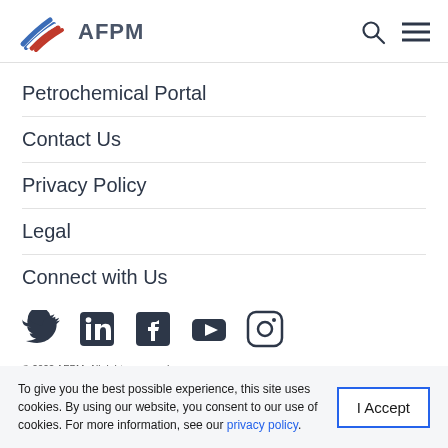AFPM
Petrochemical Portal
Contact Us
Privacy Policy
Legal
Connect with Us
[Figure (infographic): Social media icons: Twitter, LinkedIn, Facebook, YouTube, Instagram]
© 2022 AFPM. All rights reserved
American Fuel & Petrochemical Manufacturers
To give you the best possible experience, this site uses cookies. By using our website, you consent to our use of cookies. For more information, see our privacy policy.